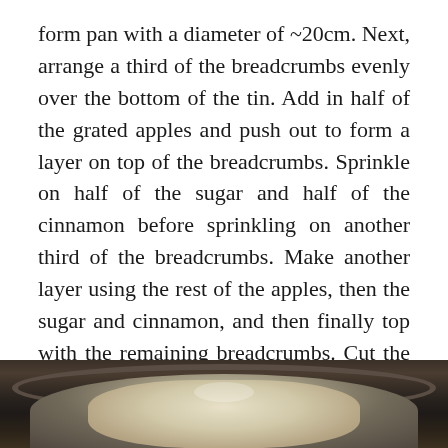form pan with a diameter of ~20cm. Next, arrange a third of the breadcrumbs evenly over the bottom of the tin. Add in half of the grated apples and push out to form a layer on top of the breadcrumbs. Sprinkle on half of the sugar and half of the cinnamon before sprinkling on another third of the breadcrumbs. Make another layer using the rest of the apples, then the sugar and cinnamon, and then finally top with the remaining breadcrumbs. Cut the butter up into small cubes and dot over the surface of the breadcrumbs, before sprinkling the water on top.
[Figure (photo): A round dark baking pan viewed from above, partially visible at the bottom of the page, containing layered breadcrumb and apple mixture, appearing white/cream colored with crumbs on a dark wooden surface]